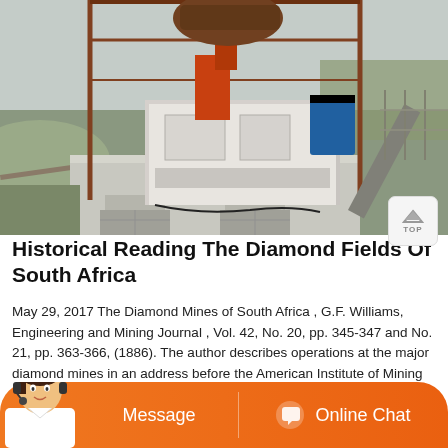[Figure (photo): Outdoor industrial mining equipment on a concrete base with metal framework structure, conveyor belt, machinery with orange and blue components, photographed at a mining site.]
Historical Reading The Diamond Fields Of South Africa
May 29, 2017 The Diamond Mines of South Africa , G.F. Williams, Engineering and Mining Journal , Vol. 42, No. 20, pp. 345-347 and No. 21, pp. 363-366, (1886). The author describes operations at the major diamond mines in an address before the American Institute of Mining Engineers.
[Figure (other): Orange bottom bar with customer service avatar, Message button, and Online Chat button with chat icon.]